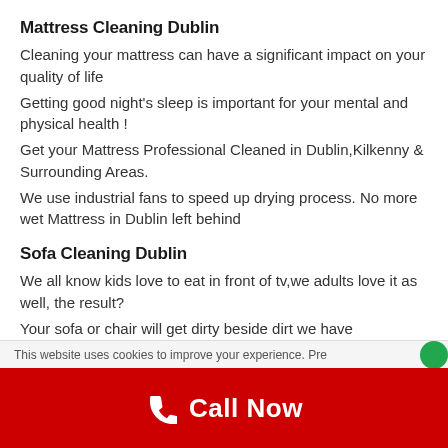Mattress Cleaning Dublin
Cleaning your mattress can have a significant impact on your quality of life
Getting good night's sleep is important for your mental and physical health !
Get your Mattress Professional Cleaned in Dublin,Kilkenny & Surrounding Areas.
We use industrial fans to speed up drying process. No more wet Mattress in Dublin left behind
Sofa Cleaning Dublin
We all know kids love to eat in front of tv,we adults love it as well, the result?
Your sofa or chair will get dirty beside dirt we have mold,mildew dust, pollen's and bacteria hidden in our sofa.
Did you know, that regular Sofa Cleaning may even benefit
This website uses cookies to improve your experience. Pre... Call Now